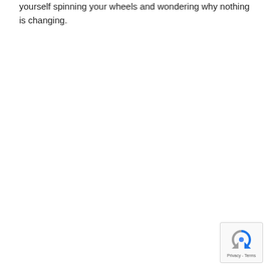yourself spinning your wheels and wondering why nothing is changing.
[Figure (other): reCAPTCHA widget with spinning arrows logo and Privacy - Terms links]